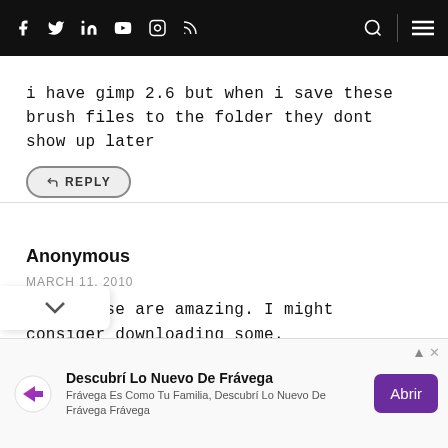Navigation bar with social icons (Facebook, Twitter, LinkedIn, YouTube, Instagram, RSS), search icon, and menu icon
i have gimp 2.6 but when i save these brush files to the folder they dont show up later
↩ REPLY
Anonymous
MARCH 11, 2010
Wow, these are amazing. I might consider downloading some.
[Figure (other): Advertisement banner: Descubrí Lo Nuevo De Frávega with logo and Abrir button]